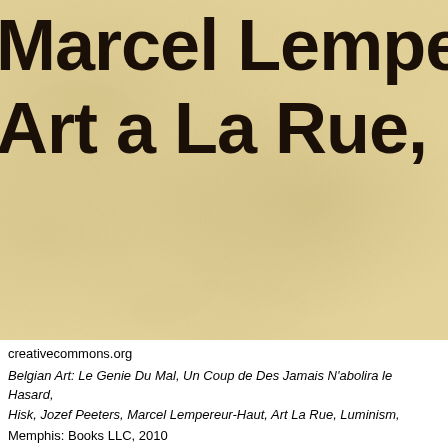[Figure (photo): Book cover with tan/cream textured background and large bold black title text reading 'Marcel Lempereur-Haut, Art a La Rue, Luminism' (partially cropped at right edge)]
Marcel Lempereur-Haut Art a La Rue, Luminism
creativecommons.org
Belgian Art: Le Genie Du Mal, Un Coup de Des Jamais N'abolira le Hasard, Hisk, Jozef Peeters, Marcel Lempereur-Haut, Art La Rue, Luminism,
Memphis: Books LLC, 2010
230 x 155 mm, 31
POD, Offset, perfect binding